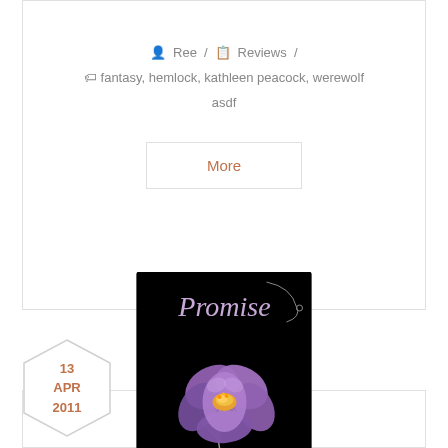Ree / Reviews /
fantasy, hemlock, kathleen peacock, werewolf
asdf
More
[Figure (illustration): Hexagonal date badge showing '13 APR 2011' in orange/brown text on white background with light border]
[Figure (photo): Book cover for 'Promise' by Kristie Cook — black background with purple crocus flower and ornate vine decorations, title in script font at top, author name at bottom right]